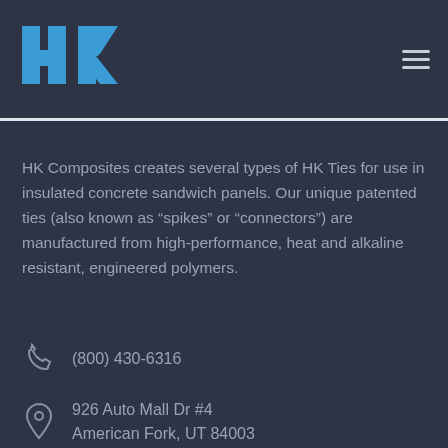[Figure (logo): HK Composites logo — blue stylized letters H and K]
HK Composites creates several types of HK Ties for use in insulated concrete sandwich panels. Our unique patented ties (also known as “spikes” or “connectors”) are manufactured from high-performance, heat and alkaline resistant, engineered polymers.
(800) 430-6316
926 Auto Mall Dr #4
American Fork, UT 84003